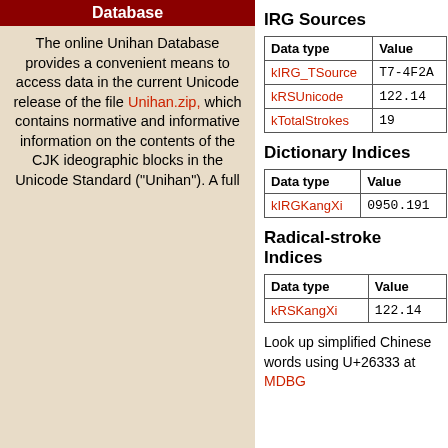Database
The online Unihan Database provides a convenient means to access data in the current Unicode release of the file Unihan.zip, which contains normative and informative information on the contents of the CJK ideographic blocks in the Unicode Standard ("Unihan"). A full
IRG Sources
| Data type | Value |
| --- | --- |
| kIRG_TSource | T7-4F2A |
| kRSUnicode | 122.14 |
| kTotalStrokes | 19 |
Dictionary Indices
| Data type | Value |
| --- | --- |
| kIRGKangXi | 0950.191 |
Radical-stroke Indices
| Data type | Value |
| --- | --- |
| kRSKangXi | 122.14 |
Look up simplified Chinese words using U+26333 at MDBG